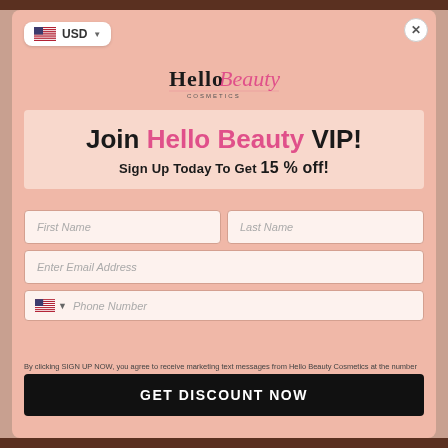[Figure (logo): Hello Beauty cosmetics logo with stylized script font]
Join Hello Beauty VIP!
Sign Up Today To Get 15 % off!
First Name
Last Name
Enter Email Address
Phone Number
By clicking SIGN UP NOW, you agree to receive marketing text messages from Hello Beauty Cosmetics at the number provided, including messages sent by autodialer. Consent is not a condition of any purchase. Message and data rates may apply. Message frequency varies. Reply HELP for help or STOP to cancel. View our Privacy Policy and Terms of Service.
GET DISCOUNT NOW